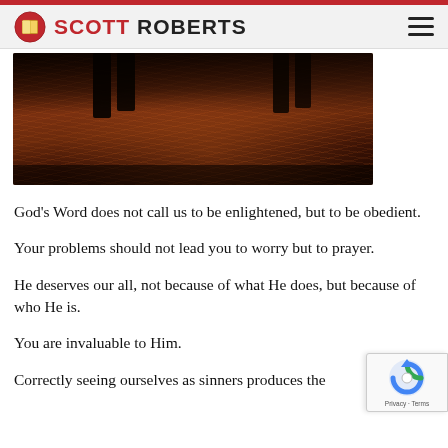SCOTT ROBERTS
[Figure (photo): Dark, warm-toned photograph showing two people's legs/feet standing on wet sand or at the water's edge, with a reddish-brown color cast.]
God's Word does not call us to be enlightened, but to be obedient.
Your problems should not lead you to worry but to prayer.
He deserves our all, not because of what He does, but because of who He is.
You are invaluable to Him.
Correctly seeing ourselves as sinners produces the